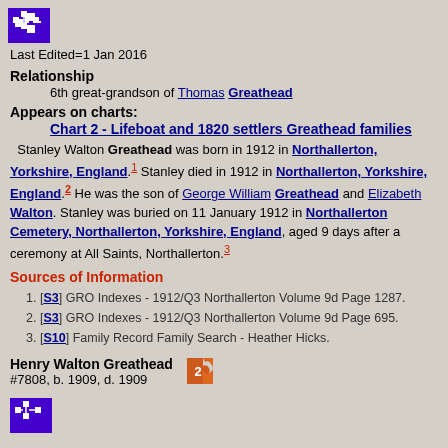[Figure (logo): Purple box with white pixel/network icon]
Last Edited=1 Jan 2016
Relationship
6th great-grandson of Thomas Greathead
Appears on charts:
Chart 2 - Lifeboat and 1820 settlers Greathead families
Stanley Walton Greathead was born in 1912 in Northallerton, Yorkshire, England.[1] Stanley died in 1912 in Northallerton, Yorkshire, England.[2] He was the son of George William Greathead and Elizabeth Walton. Stanley was buried on 11 January 1912 in Northallerton Cemetery, Northallerton, Yorkshire, England, aged 9 days after a ceremony at All Saints, Northallerton.[3]
Sources of Information
[S3] GRO Indexes - 1912/Q3 Northallerton Volume 9d Page 1287.
[S3] GRO Indexes - 1912/Q3 Northallerton Volume 9d Page 695.
[S10] Family Record Family Search - Heather Hicks.
Henry Walton Greathead #7808, b. 1909, d. 1909
[Figure (illustration): Orange/red puzzle piece with number 2]
[Figure (logo): Purple box with white pixel/network icon]